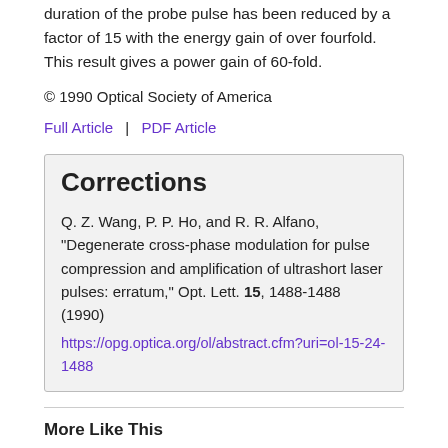duration of the probe pulse has been reduced by a factor of 15 with the energy gain of over fourfold. This result gives a power gain of 60-fold.
© 1990 Optical Society of America
Full Article  |  PDF Article
Corrections
Q. Z. Wang, P. P. Ho, and R. R. Alfano, "Degenerate cross-phase modulation for pulse compression and amplification of ultrashort laser pulses: erratum," Opt. Lett. 15, 1488-1488 (1990)
https://opg.optica.org/ol/abstract.cfm?uri=ol-15-24-1488
More Like This